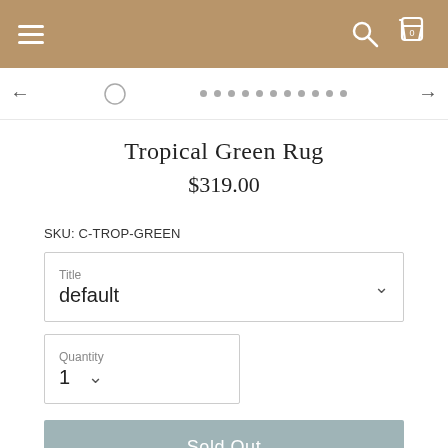Navigation bar with hamburger menu, search icon, and cart icon (0 items)
[Figure (screenshot): Carousel navigation strip with back arrow, pagination dots, and forward arrow]
Tropical Green Rug
$319.00
SKU: C-TROP-GREEN
Title
default
Quantity
1
Sold Out